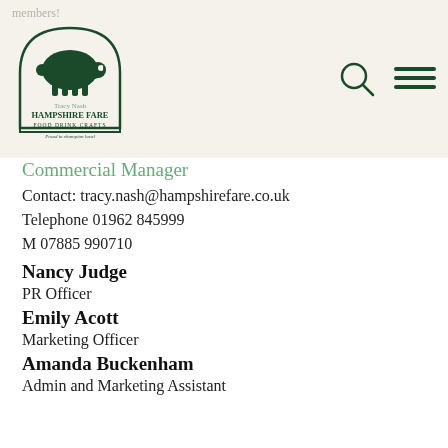members!
[Figure (logo): Hampshire Fare logo with pig illustration. Text: HAMPSHIRE FARE, FOOD DRINK CRAFTS, Proud to champion local]
Commercial Manager
Contact: tracy.nash@hampshirefare.co.uk
Telephone 01962 845999
M 07885 990710
Nancy Judge
PR Officer
Emily Acott
Marketing Officer
Amanda Buckenham
Admin and Marketing Assistant